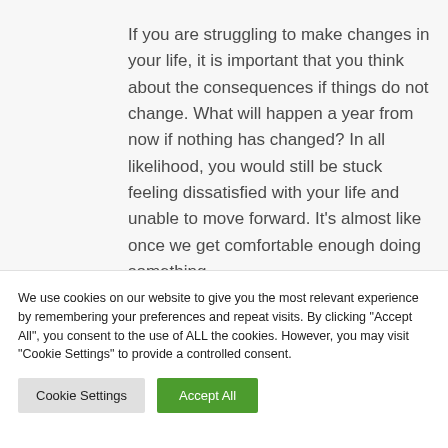If you are struggling to make changes in your life, it is important that you think about the consequences if things do not change. What will happen a year from now if nothing has changed? In all likelihood, you would still be stuck feeling dissatisfied with your life and unable to move forward. It's almost like once we get comfortable enough doing something
We use cookies on our website to give you the most relevant experience by remembering your preferences and repeat visits. By clicking "Accept All", you consent to the use of ALL the cookies. However, you may visit "Cookie Settings" to provide a controlled consent.